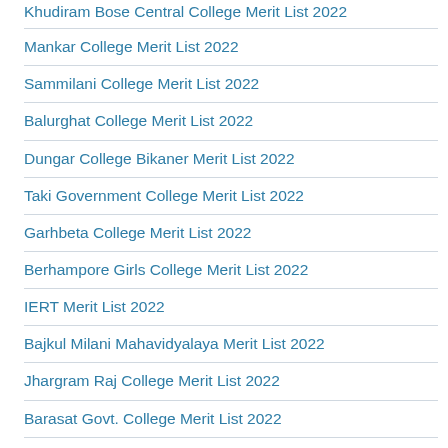Khudiram Bose Central College Merit List 2022
Mankar College Merit List 2022
Sammilani College Merit List 2022
Balurghat College Merit List 2022
Dungar College Bikaner Merit List 2022
Taki Government College Merit List 2022
Garhbeta College Merit List 2022
Berhampore Girls College Merit List 2022
IERT Merit List 2022
Bajkul Milani Mahavidyalaya Merit List 2022
Jhargram Raj College Merit List 2022
Barasat Govt. College Merit List 2022
Uluberia College Merit List 2022
ABN Seal College Merit List 2022
Galsi Mahavidyalaya Merit List 2022